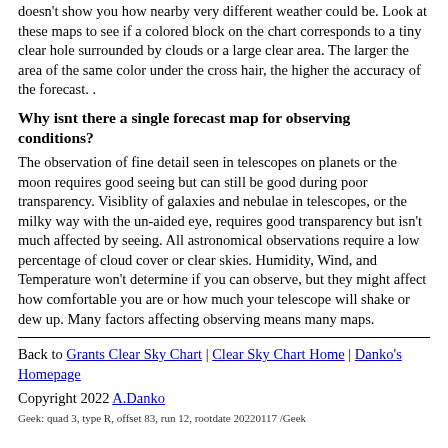doesn't show you how nearby very different weather could be. Look at these maps to see if a colored block on the chart corresponds to a tiny clear hole surrounded by clouds or a large clear area. The larger the area of the same color under the cross hair, the higher the accuracy of the forecast. .
Why isnt there a single forecast map for observing conditions?
The observation of fine detail seen in telescopes on planets or the moon requires good seeing but can still be good during poor transparency. Visiblity of galaxies and nebulae in telescopes, or the milky way with the un-aided eye, requires good transparency but isn't much affected by seeing. All astronomical observations require a low percentage of cloud cover or clear skies. Humidity, Wind, and Temperature won't determine if you can observe, but they might affect how comfortable you are or how much your telescope will shake or dew up. Many factors affecting observing means many maps.
Back to Grants Clear Sky Chart | Clear Sky Chart Home | Danko's Homepage
Copyright 2022 A.Danko
Geek: quad 3, type R, offset 83, run 12, rootdate 20220117 /Geek